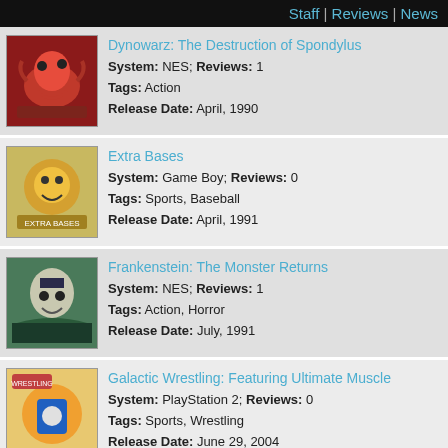Staff | Reviews | News
Dynowarz: The Destruction of Spondylus
System: NES; Reviews: 1
Tags: Action
Release Date: April, 1990
Extra Bases
System: Game Boy; Reviews: 0
Tags: Sports, Baseball
Release Date: April, 1991
Frankenstein: The Monster Returns
System: NES; Reviews: 1
Tags: Action, Horror
Release Date: July, 1991
Galactic Wrestling: Featuring Ultimate Muscle
System: PlayStation 2; Reviews: 0
Tags: Sports, Wrestling
Release Date: June 29, 2004
Galaga
System: NES; Reviews: 2
Tags: Shooter
Release Date: September, 1988
Ghost in the Shell: Stand Alone Complex
System: PSP; Reviews: 1
Tags: Shooter, First-Person, Sci-Fi